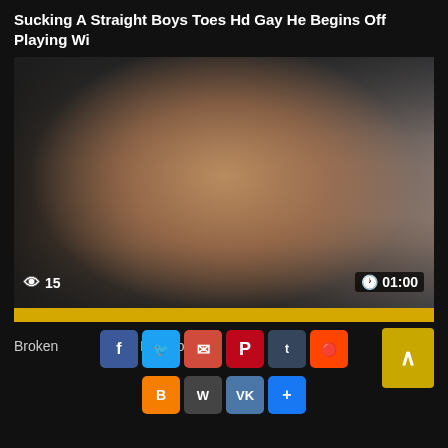Sucking A Straight Boys Toes Hd Gay He Begins Off Playing Wi
[Figure (photo): Video thumbnail showing a muscular shirtless man with glasses smiling, with view count '15' and duration '01:00' overlaid, and a yellow progress bar at the bottom]
Broken... Invasion
[Figure (infographic): Social media share buttons: Facebook, Twitter, Email, Pinterest, Tumblr, Reddit (top row), Blogger, WordPress, VK, plus button (bottom row), and a yellow scroll-to-top button]